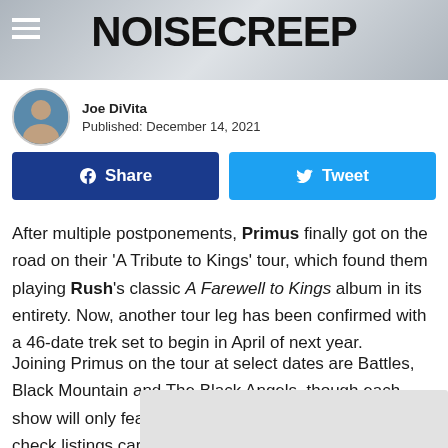NOISECREEP
Joe DiVita
Published: December 14, 2021
[Figure (screenshot): Facebook Share button (dark blue) and Twitter Tweet button (light blue)]
After multiple postponements, Primus finally got on the road on their 'A Tribute to Kings' tour, which found them playing Rush's classic A Farewell to Kings album in its entirety. Now, another tour leg has been confirmed with a 46-date trek set to begin in April of next year.
Joining Primus on the tour at select dates are Battles, Black Mountain and The Black Angels, though each show will only feature one special guest a night, so check listings carefully in rega